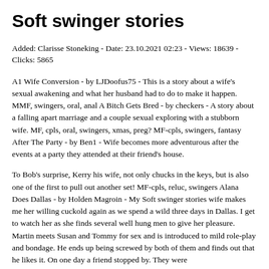Soft swinger stories
Added: Clarisse Stoneking - Date: 23.10.2021 02:23 - Views: 18639 - Clicks: 5865
A1 Wife Conversion - by LJDoofus75 - This is a story about a wife's sexual awakening and what her husband had to do to make it happen. MMF, swingers, oral, anal A Bitch Gets Bred - by checkers - A story about a falling apart marriage and a couple sexual exploring with a stubborn wife. MF, cpls, oral, swingers, xmas, preg? MF-cpls, swingers, fantasy After The Party - by Ben1 - Wife becomes more adventurous after the events at a party they attended at their friend's house.
To Bob's surprise, Kerry his wife, not only chucks in the keys, but is also one of the first to pull out another set! MF-cpls, reluc, swingers Alana Does Dallas - by Holden Magroin - My Soft swinger stories wife makes me her willing cuckold again as we spend a wild three days in Dallas. I get to watch her as she finds several well hung men to give her pleasure. Martin meets Susan and Tommy for sex and is introduced to mild role-play and bondage. He ends up being screwed by both of them and finds out that he likes it. On one day a friend stopped by. They were